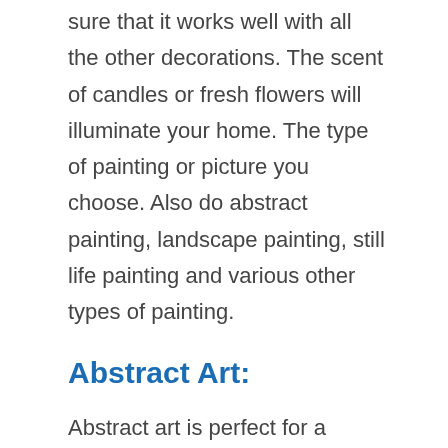sure that it works well with all the other decorations. The scent of candles or fresh flowers will illuminate your home. The type of painting or picture you choose. Also do abstract painting, landscape painting, still life painting and various other types of painting.
Abstract Art:
Abstract art is perfect for a colorful dark wall design in your living room. But abstract color lends itself to other concepts as well. You can add selected colors to a neutral background. It can create beautiful